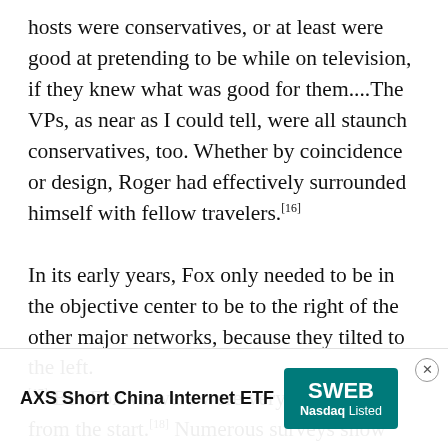hosts were conservatives, or at least were good at pretending to be while on television, if they knew what was good for them....The VPs, as near as I could tell, were all staunch conservatives, too. Whether by coincidence or design, Roger had effectively surrounded himself with fellow travelers.[16] In its early years, Fox only needed to be in the objective center to be to the right of the other major networks, because they tilted to the left.[17] But Fox viewers were very right-wing from the start.[18] Numerous surveys show that Republicans and conservatives overwhelmingly favor Fox in their news viewing. A 2010 Pew survey found that Republicans... over all other news sources except Rush
[Figure (infographic): Advertisement overlay for AXS Short China Internet ETF with ticker SWEB, Nasdaq Listed. Includes a close (X) button.]